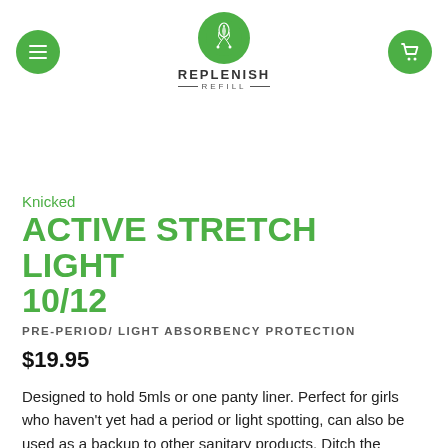Replenish Refill — navigation header with menu icon, logo, and cart icon
Knicked
ACTIVE STRETCH LIGHT 10/12
PRE-PERIOD/ LIGHT ABSORBENCY PROTECTION
$19.95
Designed to hold 5mls or one panty liner. Perfect for girls who haven't yet had a period or light spotting, can also be used as a backup to other sanitary products. Ditch the disposable panty liners and do something wonderful for the planet. Made with Micromesh a cooling lightweight stretch material in our high waist bikini cut.